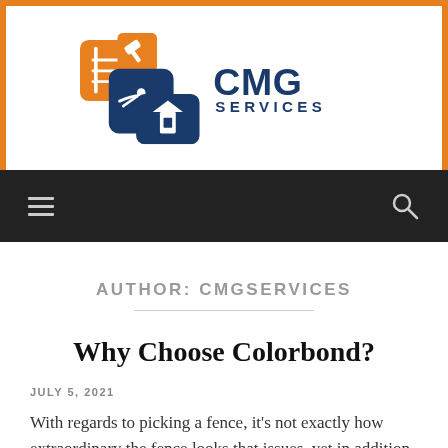[Figure (logo): CMG Services logo with stacked orange and blue icons (ladder, hammer, handshake, house) and the text CMG SERVICES in blue]
≡  🔍
AUTHOR: CMGSERVICES
Why Choose Colorbond?
JULY 5, 2021
With regards to picking a fence, it's not exactly how extraordinary the fence looks that issues, yet in addition how well it does the activity, and how much time and